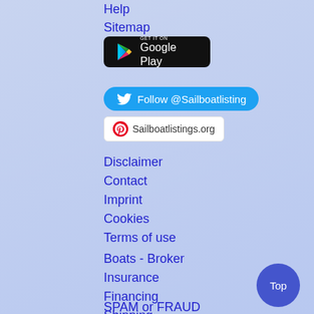Help
Sitemap
[Figure (logo): Google Play badge button on black background]
[Figure (logo): Follow @Sailboatlisting Twitter button in blue]
[Figure (logo): Pinterest Sailboatlistings.org button]
Disclaimer
Contact
Imprint
Cookies
Terms of use
Boats - Broker
Insurance
Financing
Shipping
Surveyor
SPAM or FRAUD